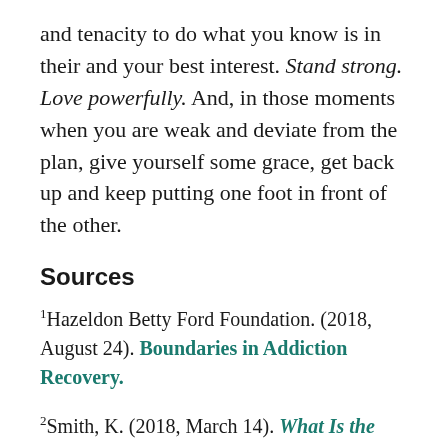and tenacity to do what you know is in their and your best interest. Stand strong. Love powerfully. And, in those moments when you are weak and deviate from the plan, give yourself some grace, get back up and keep putting one foot in front of the other.
Sources
1Hazeldon Betty Ford Foundation. (2018, August 24). Boundaries in Addiction Recovery.
2Smith, K. (2018, March 14). What Is the